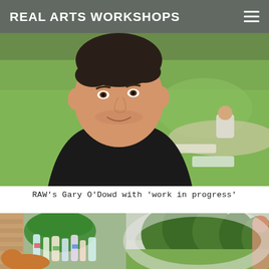REAL ARTS WORKSHOPS
[Figure (photo): A man (RAW's Gary O'Dowd) taking a selfie outdoors on a grass field, smiling at the camera in a black top. Behind him, another person crouches among scattered plastic materials and art supplies on the grass. Green lawn visible in background.]
RAW's Gary O'Dowd with 'work in progress'
[Figure (photo): Two side-by-side photos: left shows a collection of recycled plastic bottles and packaging materials; right shows an outdoor wooded/green area with trees and a partial figure.]